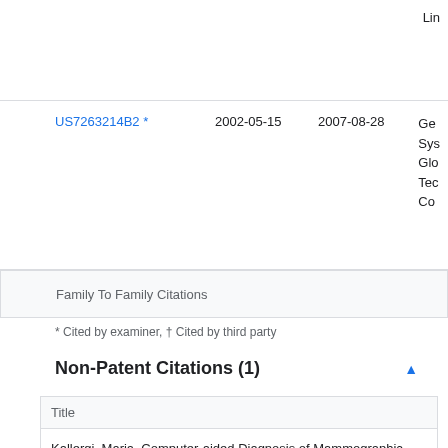Lin
|  | Patent Number | Date Filed | Date Granted | Assignee |
| --- | --- | --- | --- | --- |
| * | US7263214B2 | 2002-05-15 | 2007-08-28 | Ge Sys Glo Tec Co |
| Family To Family Citations |
| --- |
* Cited by examiner, † Cited by third party
Non-Patent Citations (1)
| Title |
| --- |
| Kallergi, Maria. Computer-aided Diagnosis of Mammographic Microcalcification Clusters. Med. Phys. 31 (2), Feb. 2004. pp. 314-318. |
* Cited by examiner, † Cited by third party
Cited By (6)